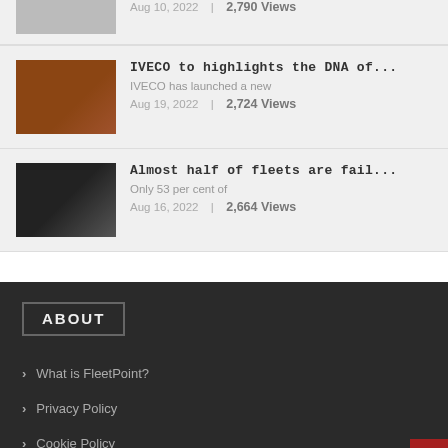Aug 10, 2022 | 2,790 Views
IVECO to highlights the DNA of...
IVECO has launched a new
Aug 19, 2022 | 2,724 Views
Almost half of fleets are fail...
Only 53 per cent of
Aug 16, 2022 | 2,664 Views
ABOUT
What is FleetPoint?
Privacy Policy
Cookie Policy